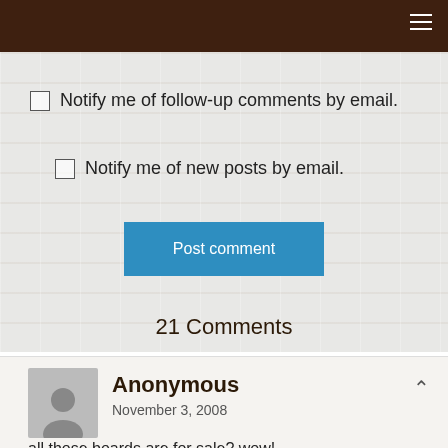Notify me of follow-up comments by email.
Notify me of new posts by email.
Post comment
21 Comments
Anonymous
November 3, 2008
all those boards are for sale? wow!